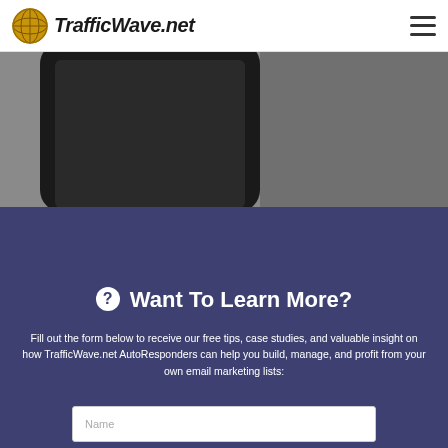TrafficWave.net
[Figure (photo): Partial view of a smartphone lying on a dark gray background, seen from above at the top of the page.]
? Want To Learn More?
Fill out the form below to receive our free tips, case studies, and valuable insight on how TrafficWave.net AutoResponders can help you build, manage, and profit from your own email marketing lists: